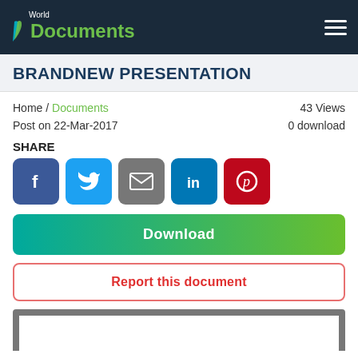World Documents
BRANDNEW PRESENTATION
Home / Documents   43 Views
Post on 22-Mar-2017   0 download
SHARE
[Figure (infographic): Social share buttons: Facebook, Twitter, Email, LinkedIn, Pinterest]
[Figure (infographic): Download button with green gradient]
[Figure (infographic): Report this document button with red border]